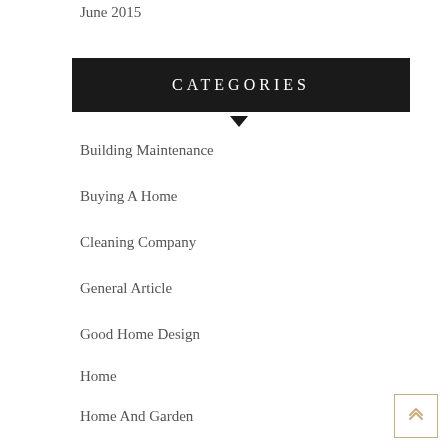June 2015
CATEGORIES
Building Maintenance
Buying A Home
Cleaning Company
General Article
Good Home Design
Home
Home And Garden
Home Clean Up